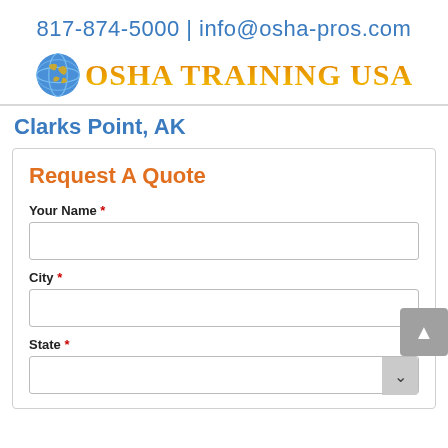817-874-5000 | info@osha-pros.com
[Figure (logo): OSHA Training USA logo with globe icon]
Clarks Point, AK
Request A Quote
Your Name *
City *
State *